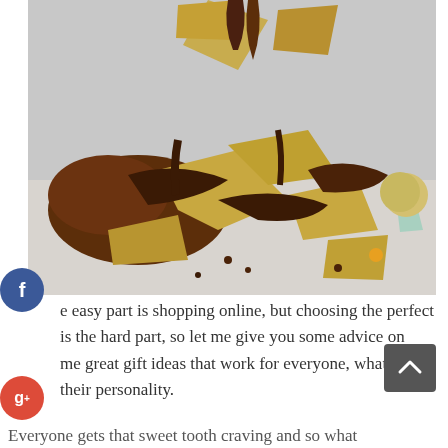[Figure (photo): Broken chocolate bar with gold/tan wrapper pieces and melted chocolate scattered on a light surface, with a candy-coated piece visible.]
e easy part is shopping online, but choosing the perfect is the hard part, so let me give you some advice on me great gift ideas that work for everyone, whatever their personality.
Everyone gets that sweet tooth craving and so what